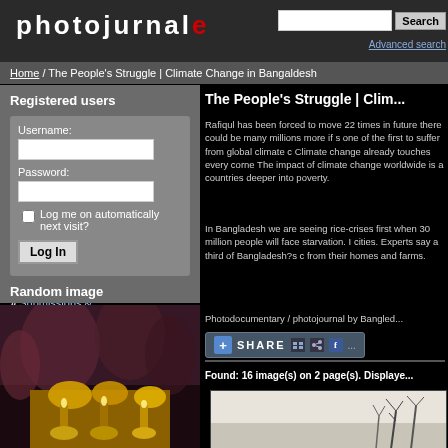photojournale
Home / The People's Struggle | Climate Change in Bangaldesh
Registered users
Username:
Password:
Log me on automatically next visit?
Log In
» Forgot password
» Submissions & Registration
Random image
[Figure (photo): Photo of people with gold ceremonial objects, blurred background]
The People's Struggle | Clim...
Rafiqul has been forced to move 22 times in future there could be many millions more if s one of the first to suffer from global climate c Climate change already touches every corne The impact of climate change worldwide is a countries deeper into poverty.
In Bangladesh we are seeing rice-crises first when 30 million people will face starvation. I cities. Experts say a third of Bangladesh?s c from their homes and farms.
Photodocumentary / photojournal by Bangled...
SHARE
Found: 16 image(s) on 2 page(s). Displaye...
[Figure (photo): Thumbnail of landscape with bare trees]